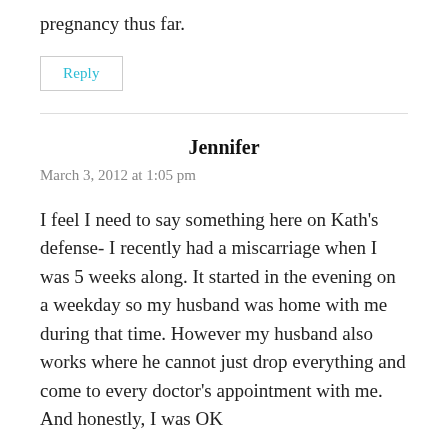pregnancy thus far.
Reply
Jennifer
March 3, 2012 at 1:05 pm
I feel I need to say something here on Kath's defense- I recently had a miscarriage when I was 5 weeks along. It started in the evening on a weekday so my husband was home with me during that time. However my husband also works where he cannot just drop everything and come to every doctor's appointment with me. And honestly, I was OK